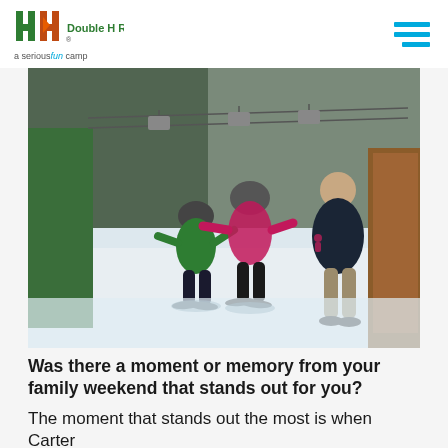Double H Ranch - a seriousfun camp
[Figure (photo): Ski slope scene with people skiing in winter. A child in a green jacket and helmet is skiing, helped by a person in a pink jacket and helmet. A man in a dark jacket and khaki pants stands to the right. Ski lift chairs visible in the background among snow-covered trees.]
Was there a moment or memory from your family weekend that stands out for you?
The moment that stands out the most is when Carter